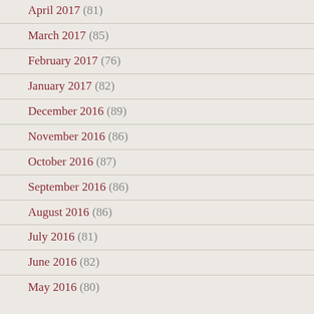April 2017 (81)
March 2017 (85)
February 2017 (76)
January 2017 (82)
December 2016 (89)
November 2016 (86)
October 2016 (87)
September 2016 (86)
August 2016 (86)
July 2016 (81)
June 2016 (82)
May 2016 (80)